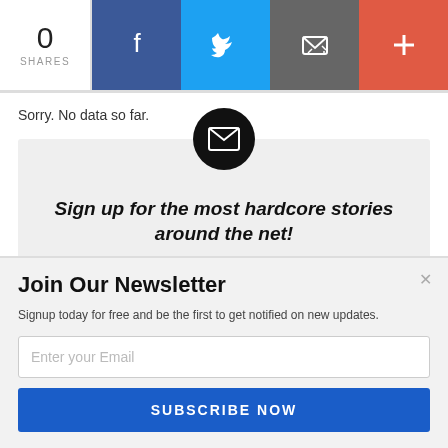[Figure (infographic): Social share bar with share count (0 SHARES), Facebook button, Twitter button, Email/envelope button, and plus button]
Sorry. No data so far.
[Figure (infographic): Newsletter signup card with envelope icon in black circle, headline 'Sign up for the most hardcore stories around the net!', Powered by SUMO badge, and email address input field]
Join Our Newsletter
Signup today for free and be the first to get notified on new updates.
Enter your Email
SUBSCRIBE NOW